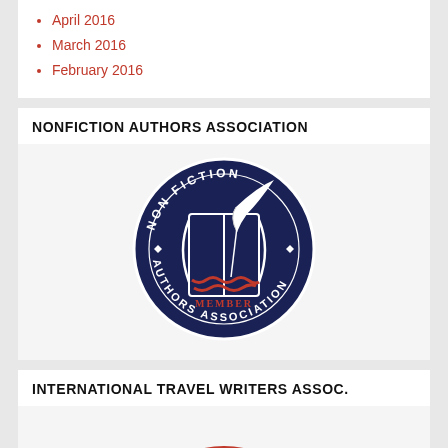April 2016
March 2016
February 2016
NONFICTION AUTHORS ASSOCIATION
[Figure (logo): Nonfiction Authors Association Member circular badge/seal logo with dark navy blue circle background, white quill feather on open book, red wavy lines at bottom, text 'NON FICTION AUTHORS ASSOCIATION MEMBER' around the circle in white and red]
INTERNATIONAL TRAVEL WRITERS ASSOC.
[Figure (logo): International Travel Writers Association logo, partially visible red circular badge at bottom of page]